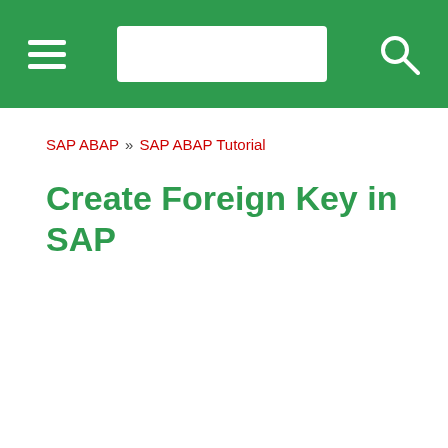SAP ABAP » SAP ABAP Tutorial — Create Foreign Key in SAP
SAP ABAP » SAP ABAP Tutorial
Create Foreign Key in SAP